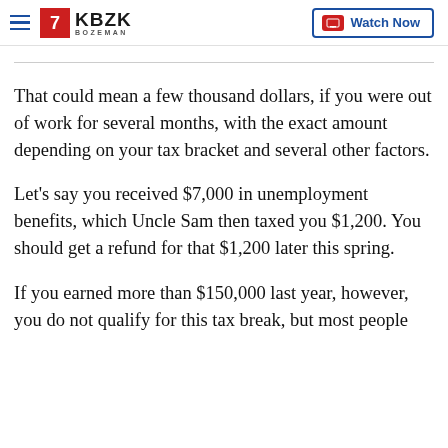KBZK BOZEMAN | Watch Now
That could mean a few thousand dollars, if you were out of work for several months, with the exact amount depending on your tax bracket and several other factors.
Let's say you received $7,000 in unemployment benefits, which Uncle Sam then taxed you $1,200. You should get a refund for that $1,200 later this spring.
If you earned more than $150,000 last year, however, you do not qualify for this tax break, but most people